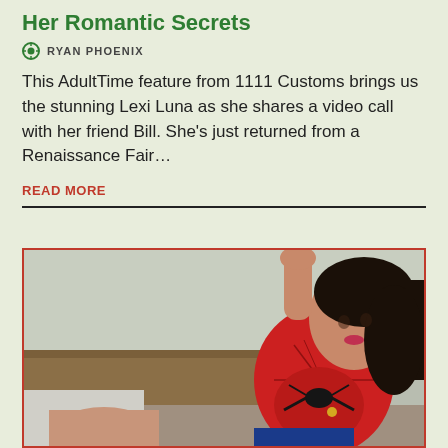Her Romantic Secrets
RYAN PHOENIX
This AdultTime feature from 1111 Customs brings us the stunning Lexi Luna as she shares a video call with her friend Bill. She's just returned from a Renaissance Fair…
READ MORE
[Figure (photo): Woman in red Spider-Man costume posing with one arm raised, dark hair, against a neutral background.]